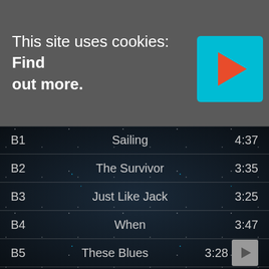This site uses cookies: Find out more.
| ID | Title | Duration |
| --- | --- | --- |
| B1 | Sailing | 4:37 |
| B2 | The Survivor | 3:35 |
| B3 | Just Like Jack | 3:25 |
| B4 | When | 3:47 |
| B5 | These Blues | 3:28 |